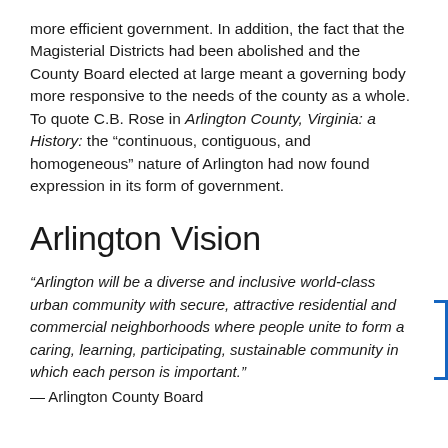more efficient government. In addition, the fact that the Magisterial Districts had been abolished and the County Board elected at large meant a governing body more responsive to the needs of the county as a whole. To quote C.B. Rose in Arlington County, Virginia: a History: the "continuous, contiguous, and homogeneous" nature of Arlington had now found expression in its form of government.
Arlington Vision
“Arlington will be a diverse and inclusive world-class urban community with secure, attractive residential and commercial neighborhoods where people unite to form a caring, learning, participating, sustainable community in which each person is important.”
— Arlington County Board